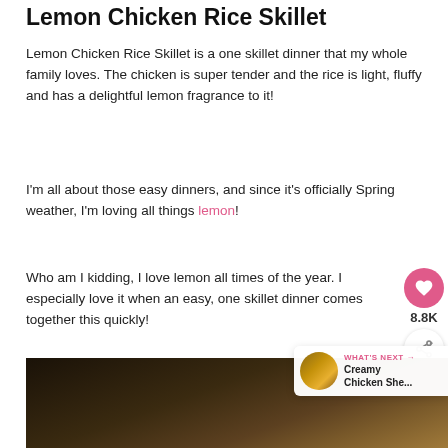Lemon Chicken Rice Skillet
Lemon Chicken Rice Skillet is a one skillet dinner that my whole family loves. The chicken is super tender and the rice is light, fluffy and has a delightful lemon fragrance to it!
I'm all about those easy dinners, and since it's officially Spring weather, I'm loving all things lemon!
Who am I kidding, I love lemon all times of the year. I especially love it when an easy, one skillet dinner comes together this quickly!
[Figure (photo): Dark background photo of Lemon Chicken Rice Skillet dish]
WHAT'S NEXT → Creamy Chicken She...